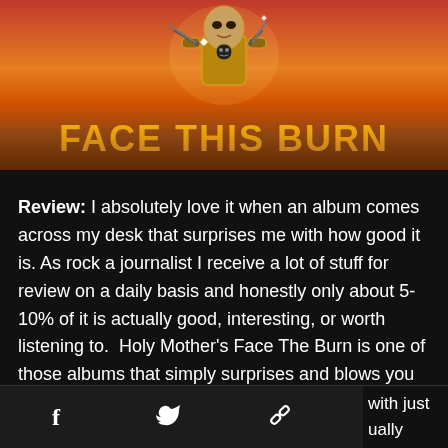[Figure (illustration): Album cover for 'Face This Burn' by Holy Mother. Features an anime/comic-style armored robot/warrior figure against a fiery red-orange sky background. The title 'FACE THIS BURN' is displayed in large metallic gold/bronze lettering at the bottom of the image.]
Review: I absolutely love it when an album comes across my desk that surprises me with how good it is. As rock a journalist I receive a lot of stuff for review on a daily basis and honestly only about 5-10% of it is actually good, interesting, or worth listening to. Holy Mother's Face The Burn is one of those albums that simply surprises and blows you away. Lead by the excellent vocals of former Riot V vocalist Mike Tirelli this album is [continues below] with just [ually]
[Figure (screenshot): Social share bar at the bottom with Facebook (f), Twitter (bird), link, and more (...) icons]